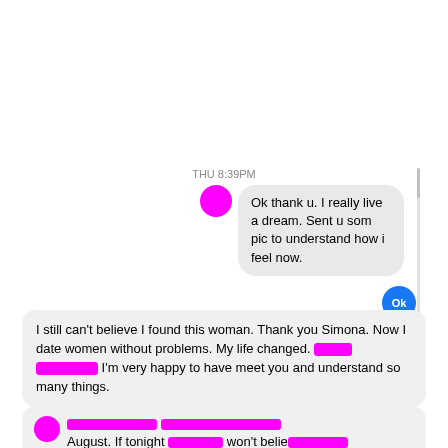THU 8:39PM
Ok thank u. I really live a dream. Sent u som pic to understand how i feel now.
I still can't believe I found this woman. Thank you Simona. Now I date women without problems. My life changed. [redacted] I'm very happy to have meet you and understand so many things.
[redacted] August. If tonight [redacted] won't believe [redacted]